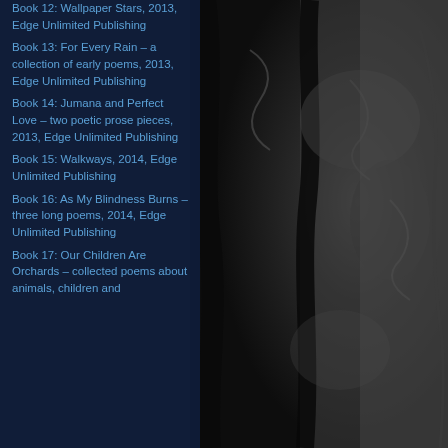[Figure (photo): Dark close-up photograph of cracked, peeling tree bark in black and white tones, occupying the right half and background of the page.]
Book 12: Wallpaper Stars, 2013, Edge Unlimited Publishing
Book 13: For Every Rain – a collection of early poems, 2013, Edge Unlimited Publishing
Book 14: Jumana and Perfect Love – two poetic prose pieces, 2013, Edge Unlimited Publishing
Book 15: Walkways, 2014, Edge Unlimited Publishing
Book 16: As My Blindness Burns – three long poems, 2014, Edge Unlimited Publishing
Book 17: Our Children Are Orchards – collected poems about animals, children and